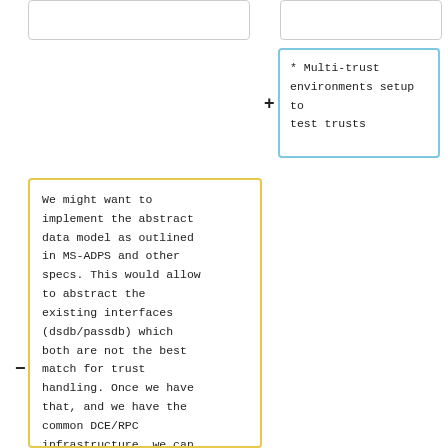[Figure (other): Top-left empty box with light grey border]
[Figure (other): Top-right empty box with light grey border]
* Multi-trust environments setup to test trusts
We might want to implement the abstract data model as outlined in MS-ADPS and other specs. This would allow to abstract the existing interfaces (dsdb/passdb) which both are not the best match for trust handling. Once we have that, and we have the common DCE/RPC infrastructure, we can easily plug implementations for trust interfaces fi...